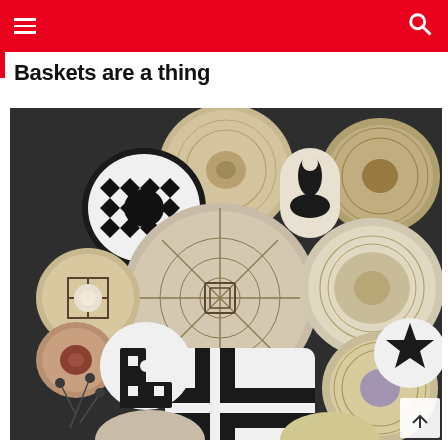Baskets are a thing
[Figure (photo): A collection of decorative woven baskets displayed on a dark charcoal wall. The baskets vary in size, pattern, and color — many feature black and white geometric designs, chevrons, star patterns, and crosshatch motifs. Some baskets are natural tan/beige tones with spiral weave patterns, while others are bold black and white. A large central basket has an intricate geometric pattern. Dried flowers or branches are visible at the bottom left.]